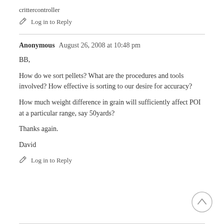crittercontroller
Log in to Reply
Anonymous   August 26, 2008 at 10:48 pm
BB,
How do we sort pellets? What are the procedures and tools involved? How effective is sorting to our desire for accuracy?
How much weight difference in grain will sufficiently affect POI at a particular range, say 50yards?
Thanks again.
David
Log in to Reply